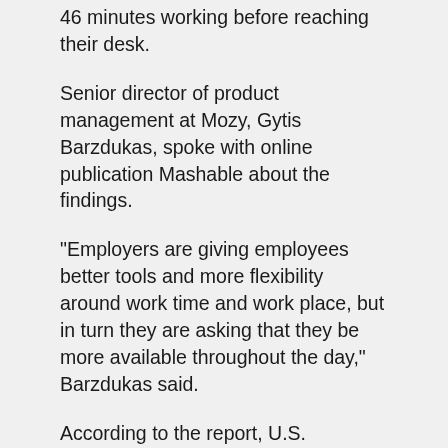46 minutes working before reaching their desk.
Senior director of product management at Mozy, Gytis Barzdukas, spoke with online publication Mashable about the findings.
"Employers are giving employees better tools and more flexibility around work time and work place, but in turn they are asking that they be more available throughout the day," Barzdukas said.
According to the report, U.S. employers said they will tolerate an employee showing up about 45 minutes late, but they will not